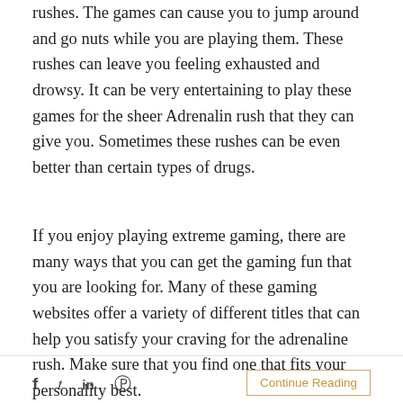rushes. The games can cause you to jump around and go nuts while you are playing them. These rushes can leave you feeling exhausted and drowsy. It can be very entertaining to play these games for the sheer Adrenalin rush that they can give you. Sometimes these rushes can be even better than certain types of drugs.
If you enjoy playing extreme gaming, there are many ways that you can get the gaming fun that you are looking for. Many of these gaming websites offer a variety of different titles that can help you satisfy your craving for the adrenaline rush. Make sure that you find one that fits your personality best.
f  t  in  p  Continue Reading